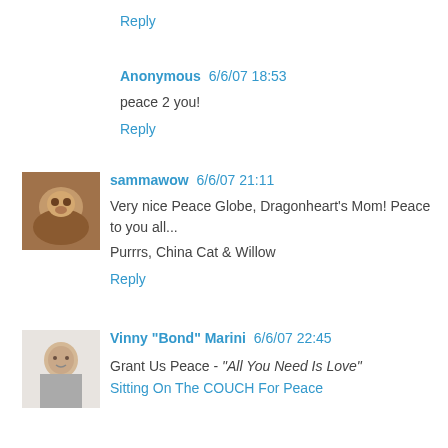Reply
Anonymous 6/6/07 18:53
peace 2 you!
Reply
[Figure (photo): Small avatar photo of a cat]
sammawow 6/6/07 21:11
Very nice Peace Globe, Dragonheart's Mom! Peace to you all...
Purrrs, China Cat & Willow
Reply
[Figure (photo): Small avatar photo of a boy]
Vinny "Bond" Marini 6/6/07 22:45
Grant Us Peace - "All You Need Is Love"
Sitting On The COUCH For Peace